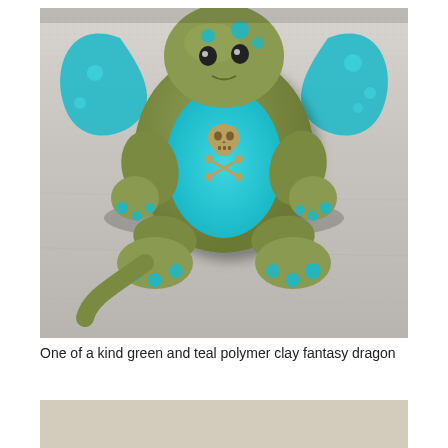[Figure (photo): A polymer clay fantasy dragon figurine, olive green with bright teal/turquoise accents (dots, belly, wing membranes). The dragon is sitting upright holding a small metal skull-and-crossbones charm. Photographed on a white textured surface in sunlight.]
One of a kind green and teal polymer clay fantasy dragon
[Figure (photo): Bottom portion of a second photo, showing a beige/tan surface, partially visible.]